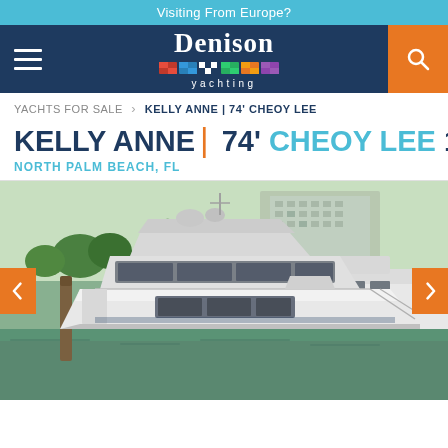Visiting From Europe?
[Figure (logo): Denison Yachting logo with navigation hamburger menu and search button on dark navy header bar]
YACHTS FOR SALE > KELLY ANNE | 74' CHEOY LEE
KELLY ANNE | 74' CHEOY LEE 1999
NORTH PALM BEACH, FL
[Figure (photo): Large white motor yacht named Kelly Anne, a 74-foot Cheoy Lee (1999), docked at a marina in North Palm Beach, FL. The yacht is photographed from the port side showing its sleek white hull, flybridge, and salon windows. Other yachts and palm trees are visible in the background, along with a high-rise building.]